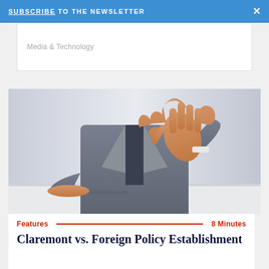SUBSCRIBE TO THE NEWSLETTER  ×
Media & Technology
[Figure (photo): Person in grey suit sitting at a table with one hand raised open toward the camera in a stop gesture, headless (cropped at neck), light grey/blue background.]
Features  8 Minutes
Claremont vs. Foreign Policy Establishment